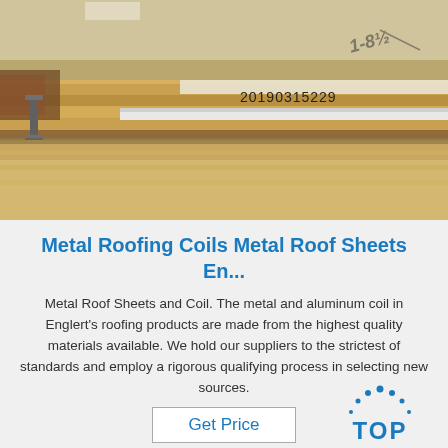[Figure (photo): Close-up photo of stacked metal roofing coils/sheets with a label showing '20190315229' stamped on the edge. The sheets appear to be stored in a warehouse, showing the edge view with wooden supports and a barcode or identification number.]
Metal Roofing Coils Metal Roof Sheets En...
Metal Roof Sheets and Coil. The metal and aluminum coil in Englert's roofing products are made from the highest quality materials available. We hold our suppliers to the strictest of standards and employ a rigorous qualifying process in selecting new sources.
[Figure (logo): TOP badge logo with blue dots arranged in an arc above the word TOP in blue letters]
Get Price